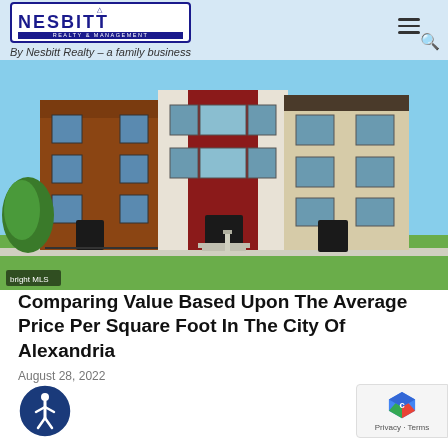Nesbitt Realty & Management – By Nesbitt Realty – a family business
[Figure (photo): Row of modern multi-story townhouses with brick and stucco facades in red, tan, and white colors, with green lawn in front. Bright MLS watermark in lower left.]
Comparing Value Based Upon The Average Price Per Square Foot In The City Of Alexandria
August 28, 2022